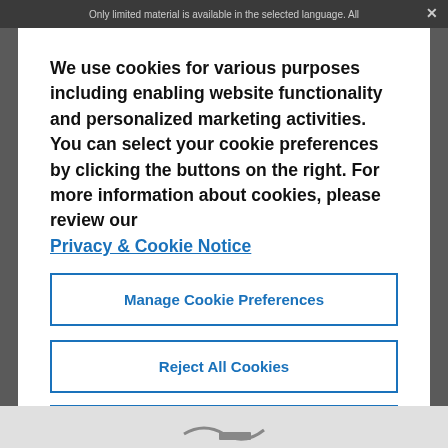Only limited material is available in the selected language. All
We use cookies for various purposes including enabling website functionality and personalized marketing activities. You can select your cookie preferences by clicking the buttons on the right. For more information about cookies, please review our Privacy & Cookie Notice
Manage Cookie Preferences
Reject All Cookies
Accept All Cookies